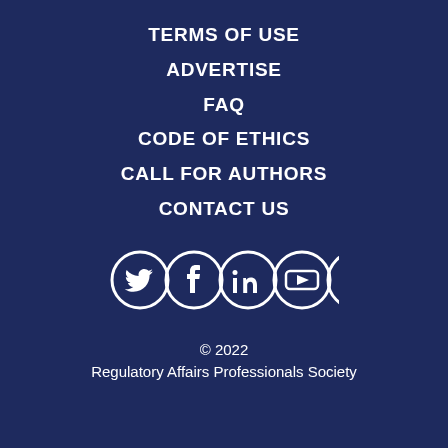TERMS OF USE
ADVERTISE
FAQ
CODE OF ETHICS
CALL FOR AUTHORS
CONTACT US
[Figure (illustration): Row of 5 white circular social media icons: Twitter, Facebook, LinkedIn, YouTube, Instagram]
© 2022
Regulatory Affairs Professionals Society